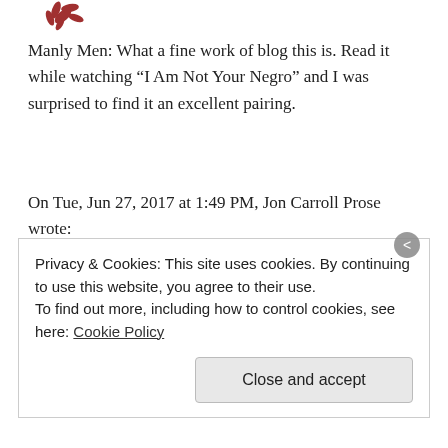[Figure (logo): Decorative red leaf/floral logo icon in upper left]
Manly Men: What a fine work of blog this is. Read it while watching “I Am Not Your Negro” and I was surprised to find it an excellent pairing.
On Tue, Jun 27, 2017 at 1:49 PM, Jon Carroll Prose wrote:
> joncarrollprose posted: “I’m writing this in order to find out what I > think. I do not expect this to be easy. I am treading in weirdly dangerous > territory, and I will
Privacy & Cookies: This site uses cookies. By continuing to use this website, you agree to their use.
To find out more, including how to control cookies, see here: Cookie Policy
Close and accept